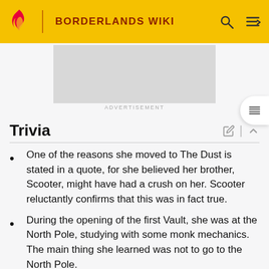BORDERLANDS WIKI
[Figure (other): Advertisement placeholder banner (gray rectangle)]
ADVERTISEMENT
Trivia
One of the reasons she moved to The Dust is stated in a quote, for she believed her brother, Scooter, might have had a crush on her. Scooter reluctantly confirms that this was in fact true.
During the opening of the first Vault, she was at the North Pole, studying with some monk mechanics. The main thing she learned was not to go to the North Pole.
She makes money by scrapping bandit cars, then